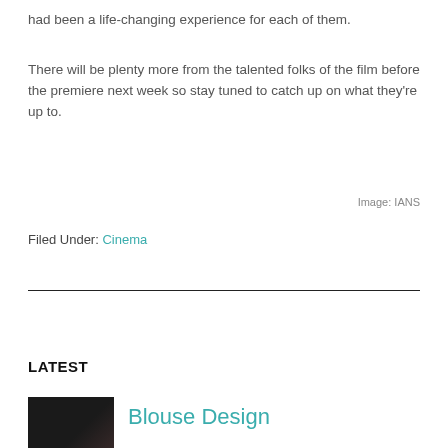had been a life-changing experience for each of them.
There will be plenty more from the talented folks of the film before the premiere next week so stay tuned to catch up on what they're up to.
Image: IANS
Filed Under: Cinema
LATEST
[Figure (photo): Small thumbnail photo of a person, dark background]
Blouse Design